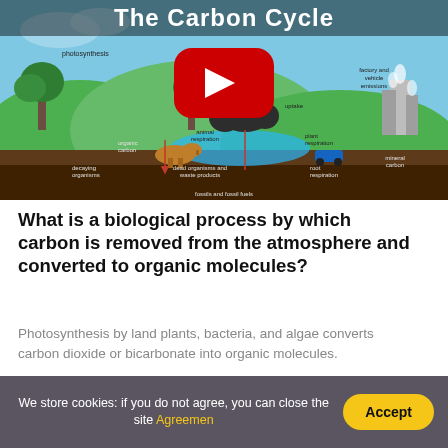[Figure (infographic): The Carbon Cycle YouTube video thumbnail showing a landscape diagram with labels: photosynthesis, CO2, animal respiration, organic carbon, decaying organisms, dead organisms and waste products, fossils and fossil fuels, root respiration, plant respiration, mineral carbon, factory and vehicle emissions, uptake. A red YouTube play button overlays the center.]
What is a biological process by which carbon is removed from the atmosphere and converted to organic molecules?
Photosynthesis by land plants, bacteria, and algae converts carbon dioxide or bicarbonate into organic molecules.
Why is carbon important in biology?
We store cookies: if you do not agree, you can close the site Agreemen